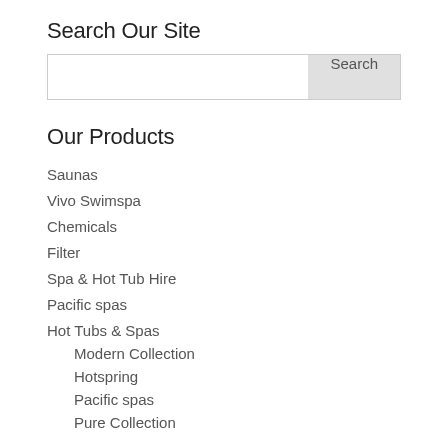Search Our Site
[Search input box with Search button]
Our Products
Saunas
Vivo Swimspa
Chemicals
Filter
Spa & Hot Tub Hire
Pacific spas
Hot Tubs & Spas
Modern Collection
Hotspring
Pacific spas
Pure Collection